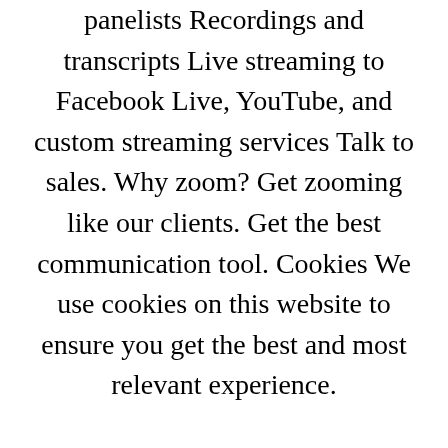panelists Recordings and transcripts Live streaming to Facebook Live, YouTube, and custom streaming services Talk to sales. Why zoom? Get zooming like our clients. Get the best communication tool. Cookies We use cookies on this website to ensure you get the best and most relevant experience. Find out more Got it! Close Privacy Overview This website по этому сообщению cookies to improve your experience while you navigate through the